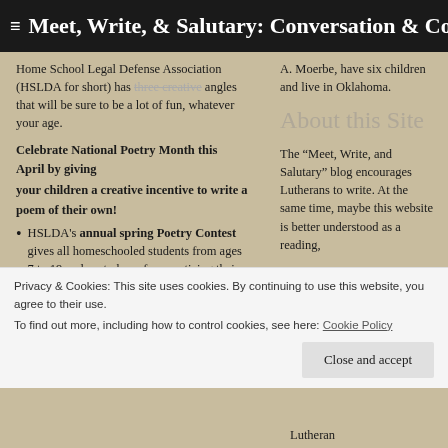Meet, Write, & Salutary: Conversation & Community for
Home School Legal Defense Association (HSLDA for short) has three creative angles that will be sure to be a lot of fun, whatever your age.
Celebrate National Poetry Month this April by giving your children a creative incentive to write a poem of their own!
HSLDA's annual spring Poetry Contest gives all homeschooled students from ages 7 to 19 a place to have fun practicing their
A. Moerbe, have six children and live in Oklahoma.
About this Site
The “Meet, Write, and Salutary” blog encourages Lutherans to write. At the same time, maybe this website is better understood as a reading,
Privacy & Cookies: This site uses cookies. By continuing to use this website, you agree to their use.
To find out more, including how to control cookies, see here: Cookie Policy
Close and accept
Lutheran